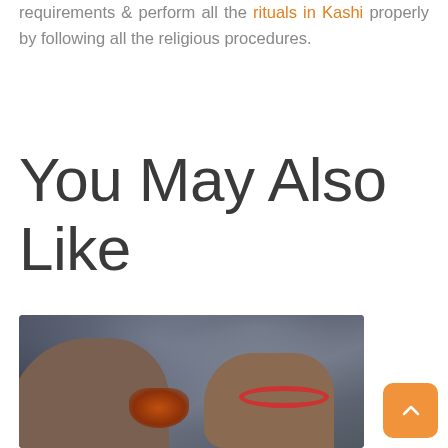requirements & perform all the rituals in Kashi properly by following all the religious procedures.
You May Also Like
[Figure (photo): A photograph showing hands during a religious ritual, with smoke in the background. One hand wears red bangles and appears to be holding or offering something.]